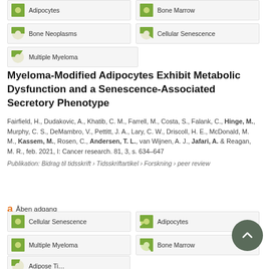Adipocytes (100%)
Bone Marrow (100%)
Bone Neoplasms (50%)
Cellular Senescence (60%)
Multiple Myeloma (35%)
Myeloma-Modified Adipocytes Exhibit Metabolic Dysfunction and a Senescence-Associated Secretory Phenotype
Fairfield, H., Dudakovic, A., Khatib, C. M., Farrell, M., Costa, S., Falank, C., Hinge, M., Murphy, C. S., DeMambro, V., Pettitt, J. A., Lary, C. W., Driscoll, H. E., McDonald, M. M., Kassem, M., Rosen, C., Andersen, T. L., van Wijnen, A. J., Jafari, A. & Reagan, M. R., feb. 2021, I: Cancer research. 81, 3, s. 634–647
Publikation: Bidrag til tidsskrift › Tidsskriftartikel › Forskning › peer review
Åben adgang
Cellular Senescence (100%)
Adipocytes (90%)
Multiple Myeloma (100%)
Bone Marrow (65%)
Adipose Tissue (partial)